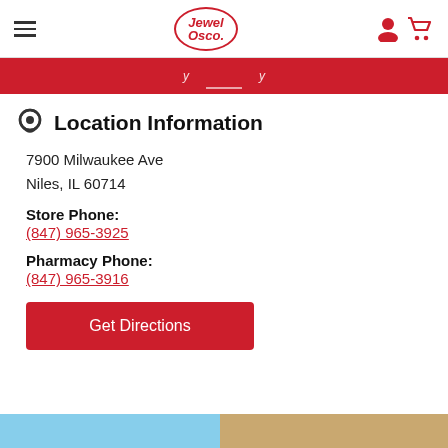Jewel Osco
Location Information
7900 Milwaukee Ave
Niles, IL 60714
Store Phone:
(847) 965-3925
Pharmacy Phone:
(847) 965-3916
Get Directions